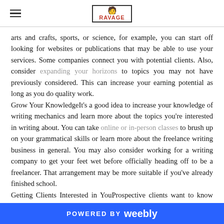RAVAGE logo with hamburger menu
arts and crafts, sports, or science, for example, you can start off looking for websites or publications that may be able to use your services. Some companies connect you with potential clients. Also, consider expanding your horizons to topics you may not have previously considered. This can increase your earning potential as long as you do quality work.
Grow Your KnowledgeIt's a good idea to increase your knowledge of writing mechanics and learn more about the topics you're interested in writing about. You can take online or in-person classes to brush up on your grammatical skills or learn more about the freelance writing business in general. You may also consider working for a writing company to get your feet wet before officially heading off to be a freelancer. That arrangement may be more suitable if you've already finished school.
Getting Clients Interested in YouProspective clients want to know they can depend on you to provide quality material, and they want
POWERED BY weebly